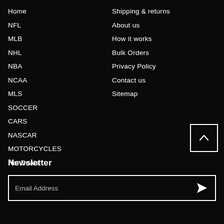Home
NFL
MLB
NHL
NBA
NCAA
MLS
SOCCER
CARS
NASCAR
MOTORCYCLES
Hot Deals
Shipping & returns
About us
How it works
Bulk Orders
Privacy Policy
Contact us
Sitemap
[Figure (other): Back to top button with upward arrow chevron]
Newsletter
Email Address